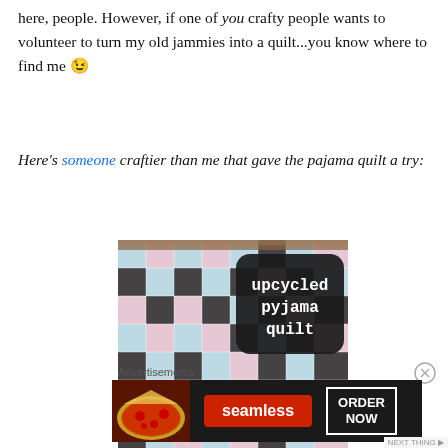here, people. However, if one of you crafty people wants to volunteer to turn my old jammies into a quilt...you know where to find me 😉
Here's someone craftier than me that gave the pajama quilt a try:
[Figure (photo): Photo of a patchwork quilt made from upcycled pyjamas, with a dark rounded rectangle overlay text reading 'upcycled pyjama quilt']
Advertisements
[Figure (infographic): Seamless food delivery advertisement banner with pizza image, Seamless logo and ORDER NOW button]